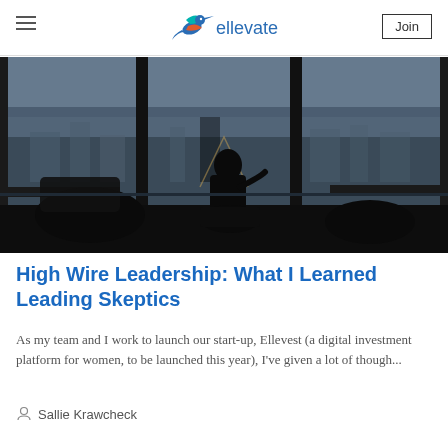ellevate [logo] | Join
[Figure (photo): Silhouette of a person sitting in a chair looking out floor-to-ceiling windows at a high-rise city view, with dark furniture in foreground]
High Wire Leadership: What I Learned Leading Skeptics
As my team and I work to launch our start-up, Ellevest (a digital investment platform for women, to be launched this year), I've given a lot of though...
Sallie Krawcheck